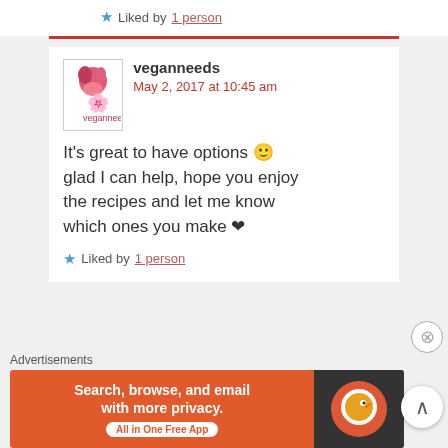★ Liked by 1 person
veganneeds
May 2, 2017 at 10:45 am

It's great to have options 🙂 glad I can help, hope you enjoy the recipes and let me know which ones you make ❤
★ Liked by 1 person
Advertisements
[Figure (screenshot): DuckDuckGo advertisement banner: orange background with text 'Search, browse, and email with more privacy. All in One Free App' and DuckDuckGo logo on dark background]